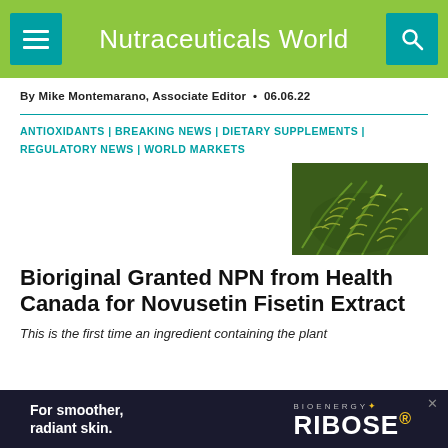Nutraceuticals World
By Mike Montemarano, Associate Editor • 06.06.22
ANTIOXIDANTS | BREAKING NEWS | DIETARY SUPPLEMENTS | REGULATORY NEWS | WORLD MARKETS
[Figure (photo): Close-up photo of green tropical fern leaves with yellow-green stripes]
Bioriginal Granted NPN from Health Canada for Novusetin Fisetin Extract
This is the first time an ingredient containing the plant
[Figure (other): Advertisement banner: 'For smoother, radiant skin.' with BIOENERGY RIBOSE logo]